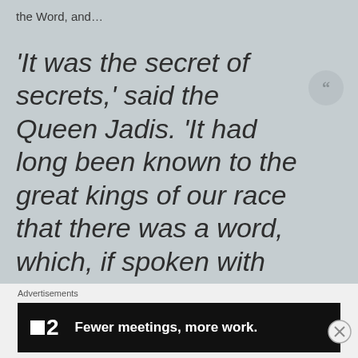the Word, and…
'It was the secret of secrets,' said the Queen Jadis. 'It had long been known to the great kings of our race that there was a word, which, if spoken with the proper
Advertisements
[Figure (other): Advertisement banner for a product/service '2' with tagline 'Fewer meetings, more work.' on a black background]